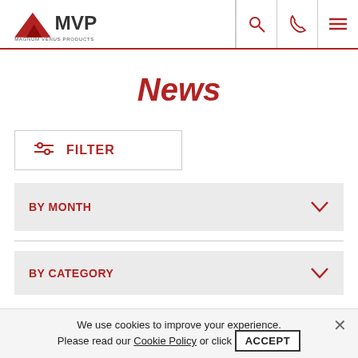MVP - Magnum Venus Products
News
FILTER
BY MONTH
BY CATEGORY
We use cookies to improve your experience. Please read our Cookie Policy or click ACCEPT